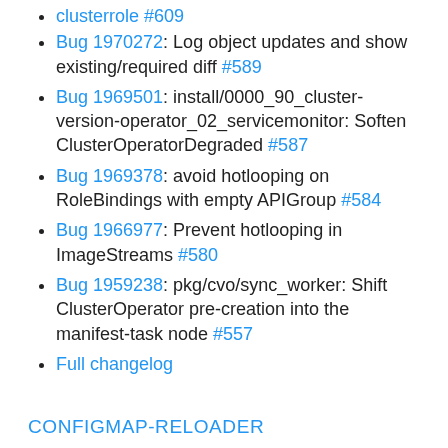clusterrole #609
Bug 1970272: Log object updates and show existing/required diff #589
Bug 1969501: install/0000_90_cluster-version-operator_02_servicemonitor: Soften ClusterOperatorDegraded #587
Bug 1969378: avoid hotlooping on RoleBindings with empty APIGroup #584
Bug 1966977: Prevent hotlooping in ImageStreams #580
Bug 1959238: pkg/cvo/sync_worker: Shift ClusterOperator pre-creation into the manifest-task node #557
Full changelog
CONFIGMAP-RELOADER
Updating configmap-reload builder & base images to be consistent with ART #27